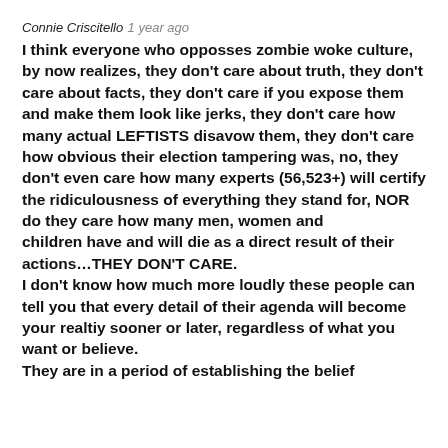Connie Criscitello 1 year ago
I think everyone who opposses zombie woke culture, by now realizes, they don't care about truth, they don't care about facts, they don't care if you expose them and make them look like jerks, they don't care how many actual LEFTISTS disavow them, they don't care how obvious their election tampering was, no, they don't even care how many experts (56,523+) will certify the ridiculousness of everything they stand for, NOR do they care how many men, women and children have and will die as a direct result of their actions…THEY DON'T CARE. I don't know how much more loudly these people can tell you that every detail of their agenda will become your realtiy sooner or later, regardless of what you want or believe. They are in a period of establishing the belief